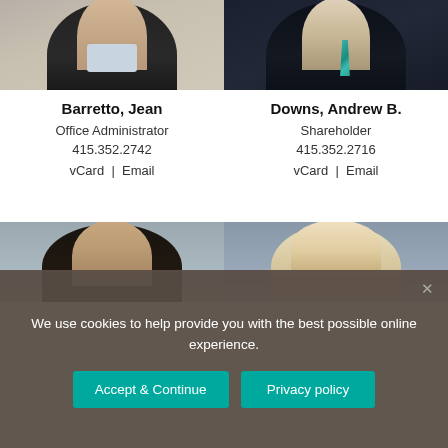[Figure (photo): Partial photo of Jean Barretto, woman in dark jacket and light shirt, cropped at top]
[Figure (photo): Partial photo of Andrew B. Downs, man in dark suit with teal patterned tie, cropped at top]
Barretto, Jean
Office Administrator
415.352.2742
vCard | Email
Downs, Andrew B.
Shareholder
415.352.2716
vCard | Email
[Figure (photo): Partial photo of unidentified man with gray/brown hair, cropped, blue-gray background]
[Figure (photo): Partial photo of unidentified woman with blonde hair, cropped, blue-gray background]
We use cookies to help provide you with the best possible online experience.
Accept & Continue
Privacy policy